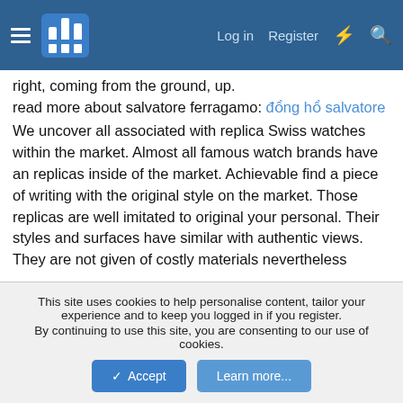Navigation bar with hamburger menu, logo, Log in, Register, and search icons
right, coming from the ground, up.
read more about salvatore ferragamo: đồng hồ salvatore
We uncover all associated with replica Swiss watches within the market. Almost all famous watch brands have an replicas inside of the market. Achievable find a piece of writing with the original style on the market. Those replicas are well imitated to original your personal. Their styles and surfaces have similar with authentic views. They are not given of costly materials nevertheless qualities have grown to be good. They made of alloy or other inexpensive necessities. Most of them can are 1 or 2 years, some even last longer.
When knowing exactly what comfortable with who we are, we all experience harmony - the virtue of grace leluxevietnam . When we seek identity outside of ourselves, in someone else or solely
This site uses cookies to help personalise content, tailor your experience and to keep you logged in if you register.
By continuing to use this site, you are consenting to our use of cookies.